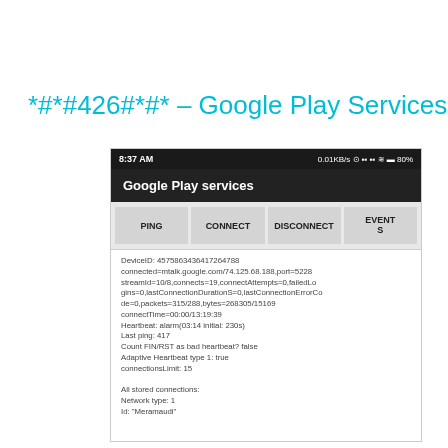*#*#426#*#* – Google Play Services
[Figure (screenshot): Android smartphone screenshot showing Google Play services diagnostic screen with PING, CONNECT, DISCONNECT, EVENTS buttons and device connection details including DeviceID, connected server, streamId, heartbeat, ping, and connection info.]